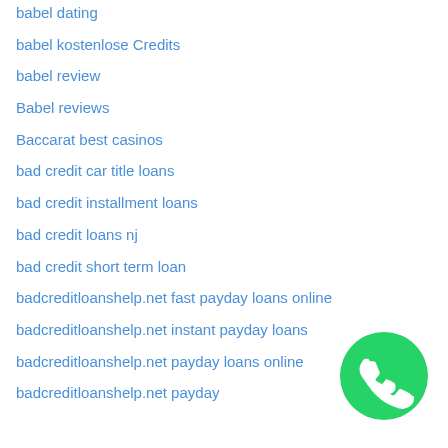babel dating
babel kostenlose Credits
babel review
Babel reviews
Baccarat best casinos
bad credit car title loans
bad credit installment loans
bad credit loans nj
bad credit short term loan
badcreditloanshelp.net fast payday loans online
badcreditloanshelp.net instant payday loans
badcreditloanshelp.net payday loans online
badcreditloanshelp.net payday
[Figure (logo): WhatsApp green circular button with phone handset icon]